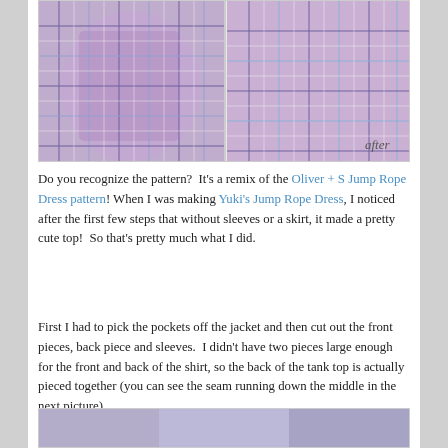[Figure (photo): Two photos of a plaid shirt in purple, blue, and white tones. Left photo shows the full shirt laid flat (before). Right photo shows the upper portion of the shirt with an 'after' label in handwriting.]
Do you recognize the pattern?  It's a remix of the Oliver + S Jump Rope Dress pattern! When I was making Yuki's Jump Rope Dress, I noticed after the first few steps that without sleeves or a skirt, it made a pretty cute top!  So that's pretty much what I did.
First I had to pick the pockets off the jacket and then cut out the front pieces, back piece and sleeves.  I didn't have two pieces large enough for the front and back of the shirt, so the back of the tank top is actually pieced together (you can see the seam running down the middle in the next picture).
[Figure (photo): Partial view of the next photo showing the finished tank top in plaid fabric.]